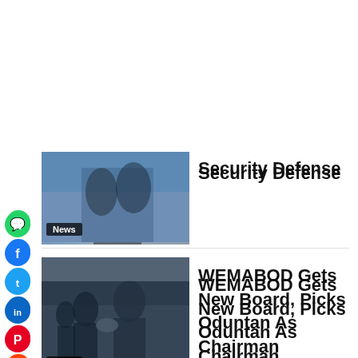[Figure (screenshot): Social media sharing icons bar: WhatsApp, Facebook, Twitter, LinkedIn, Pinterest, Reddit, Email, Print]
[Figure (photo): Partially visible news thumbnail with 'News' badge showing people at what appears to be a security/defense event]
Security Defense
[Figure (photo): News thumbnail showing people shaking hands at a board meeting, with 'News' badge]
WEMABOD Gets New Board, Picks Oduntan As Chairman
[Figure (photo): News thumbnail showing a building/market scene in Kano, with 'News' badge]
Scores Trapped As Building Collapses In Kano Market